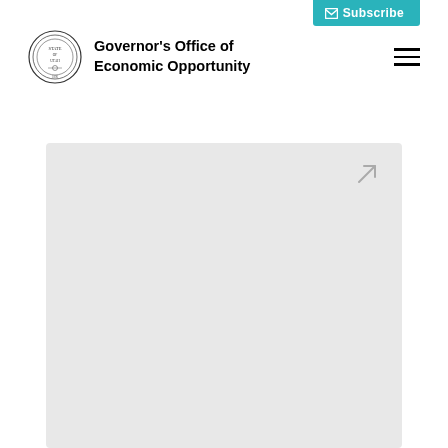[Figure (screenshot): Teal subscribe button with envelope icon and text 'Subscribe' at top right]
[Figure (logo): Governor's Office of Economic Opportunity logo with state seal and organization name]
[Figure (other): Gray placeholder content box with diagonal arrow icon in upper right corner]